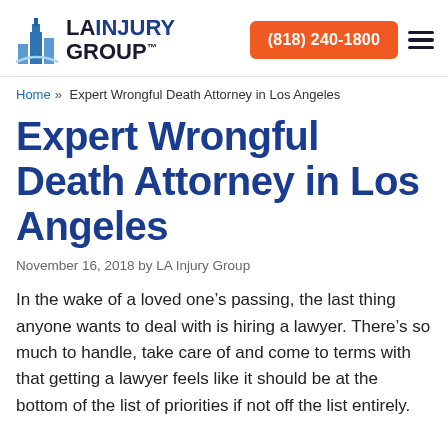LA INJURY GROUP | (818) 240-1800
Home » Expert Wrongful Death Attorney in Los Angeles
Expert Wrongful Death Attorney in Los Angeles
November 16, 2018 by LA Injury Group
In the wake of a loved one's passing, the last thing anyone wants to deal with is hiring a lawyer. There's so much to handle, take care of and come to terms with that getting a lawyer feels like it should be at the bottom of the list of priorities if not off the list entirely.